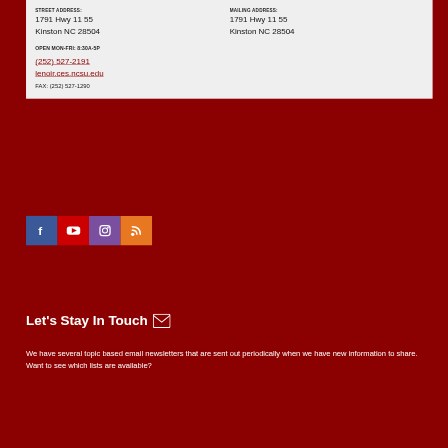STREET ADDRESS:
1791 Hwy 11 55
Kinston NC 28504
MAILING ADDRESS:
1791 Hwy 11 55
Kinston NC 28504
OPEN MON-FRI: 8:30A-5P
(252) 527-2191
lenoir.ces.ncsu.edu
FAX: (252) 527-1290
[Figure (infographic): Social media icons: Facebook (blue), YouTube (red), Instagram (purple), RSS (orange)]
Let's Stay In Touch
We have several topic based email newsletters that are sent out periodically when we have new information to share. Want to see which lists are available?